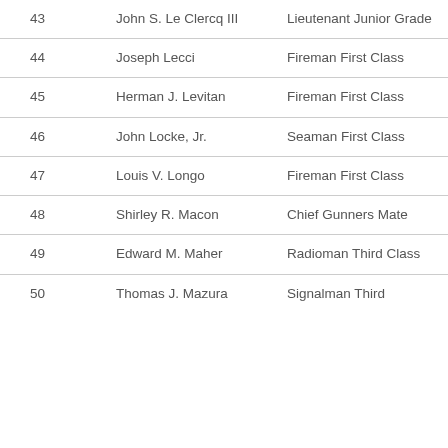| 43 | John S. Le Clercq III | Lieutenant Junior Grade | 25 October 1944 |
| 44 | Joseph Lecci | Fireman First Class | 25 October 1944 |
| 45 | Herman J. Levitan | Fireman First Class | 25 October 1944 |
| 46 | John Locke, Jr. | Seaman First Class | 25 October 1944 |
| 47 | Louis V. Longo | Fireman First Class | 25 October 1944 |
| 48 | Shirley R. Macon | Chief Gunners Mate | 25 October 1944 |
| 49 | Edward M. Maher | Radioman Third Class | 25 October 1944 |
| 50 | Thomas J. Mazura | Signalman Third | 25 October |